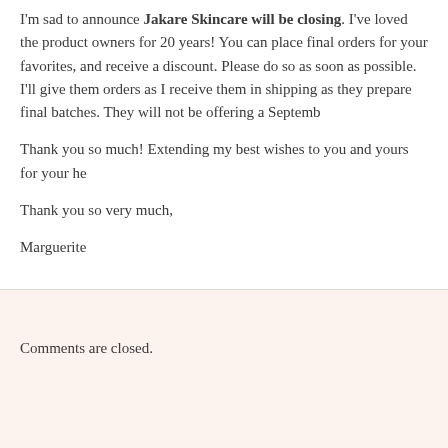I'm sad to announce Jakare Skincare will be closing. I've loved the product owners for 20 years! You can place final orders for your favorites, and receive a discount. Please do so as soon as possible. I'll give them orders as I receive them in shipping as they prepare final batches. They will not be offering a September...
Thank you so much! Extending my best wishes to you and yours for your he...
Thank you so very much,
Marguerite
Comments are closed.